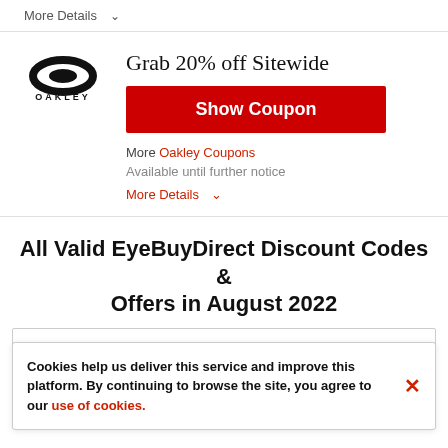More Details ∨
Grab 20% off Sitewide
[Figure (logo): Oakley brand logo — stylized O shape with 'OAKLEY' text below]
Show Coupon
More Oakley Coupons
Available until further notice
More Details ∨
All Valid EyeBuyDirect Discount Codes & Offers in August 2022
| DISCOUNT | EyeBuyDirect COUPON | Expiration Date |
| --- | --- | --- |
| EyeBuyDirect Promo Codes |  | 2022 |
Cookies help us deliver this service and improve this platform. By continuing to browse the site, you agree to our use of cookies.